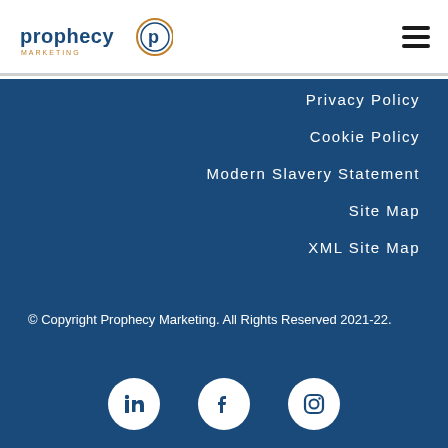[Figure (logo): Prophecy Marketing logo with circular P icon in blue and orange]
[Figure (other): Hamburger menu icon (three horizontal lines)]
Privacy Policy
Cookie Policy
Modern Slavery Statement
Site Map
XML Site Map
© Copyright Prophecy Marketing. All Rights Reserved 2021-22.
[Figure (other): LinkedIn, Facebook, and Instagram social media icons in white on dark blue background, inside white circles]